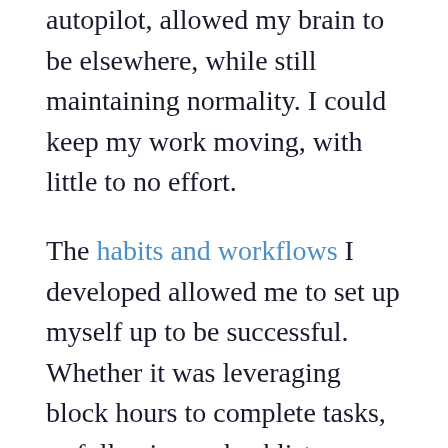autopilot, allowed my brain to be elsewhere, while still maintaining normality. I could keep my work moving, with little to no effort.
The habits and workflows I developed allowed me to set up myself up to be successful. Whether it was leveraging block hours to complete tasks, or following a checklist or workflow, my work was process driven with very little variables in between.
My need for time, pushed me to become more streamlined than ever before.